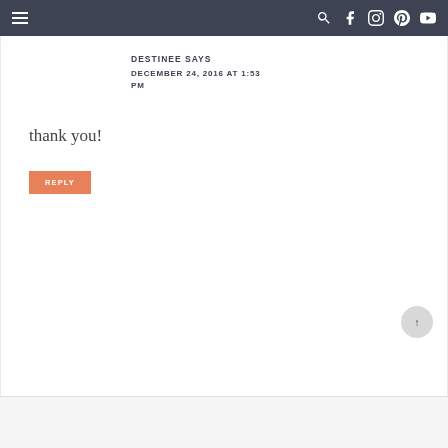≡  🔍 f 📷 p ▶
DESTINEE SAYS
DECEMBER 24, 2016 AT 1:53 PM
thank you!
REPLY
SANDI SAYS
DECEMBER 25, 2016 AT 9:38 AM